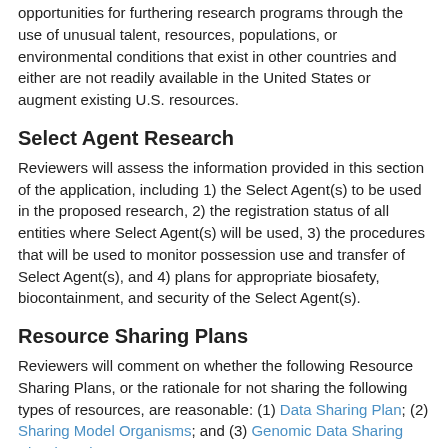opportunities for furthering research programs through the use of unusual talent, resources, populations, or environmental conditions that exist in other countries and either are not readily available in the United States or augment existing U.S. resources.
Select Agent Research
Reviewers will assess the information provided in this section of the application, including 1) the Select Agent(s) to be used in the proposed research, 2) the registration status of all entities where Select Agent(s) will be used, 3) the procedures that will be used to monitor possession use and transfer of Select Agent(s), and 4) plans for appropriate biosafety, biocontainment, and security of the Select Agent(s).
Resource Sharing Plans
Reviewers will comment on whether the following Resource Sharing Plans, or the rationale for not sharing the following types of resources, are reasonable: (1) Data Sharing Plan; (2) Sharing Model Organisms; and (3) Genomic Data Sharing Plan (GDS).
Authentication of Key Biological and/or